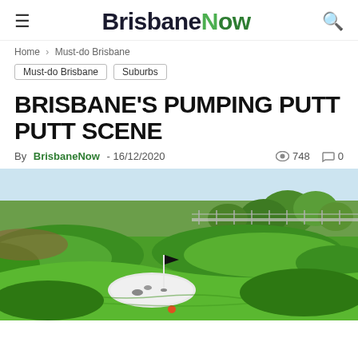BrisbaneNow
Home > Must-do Brisbane
Must-do Brisbane  Suburbs
BRISBANE'S PUMPING PUTT PUTT SCENE
By BrisbaneNow - 16/12/2020  748  0
[Figure (photo): Outdoor mini golf / putt putt course with bright green artificial grass mounds, a white putting circle with a flag pole, and trees and fence in the background under sunny sky. A small orange ball is visible in the foreground.]